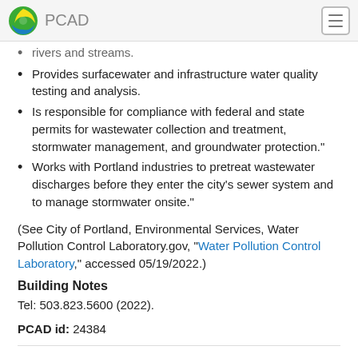PCAD
rivers and streams.
Provides surfacewater and infrastructure water quality testing and analysis.
Is responsible for compliance with federal and state permits for wastewater collection and treatment, stormwater management, and groundwater protection."
Works with Portland industries to pretreat wastewater discharges before they enter the city's sewer system and to manage stormwater onsite."
(See City of Portland, Environmental Services, Water Pollution Control Laboratory.gov, "Water Pollution Control Laboratory," accessed 05/19/2022.)
Building Notes
Tel: 503.823.5600 (2022).
PCAD id: 24384